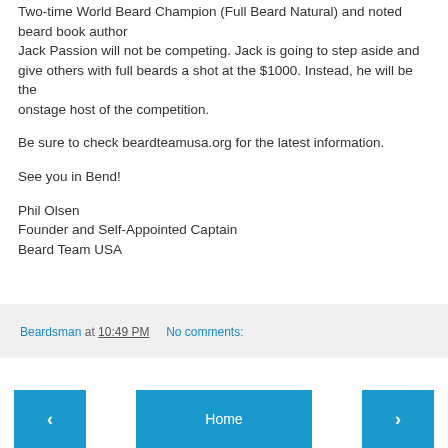Two-time World Beard Champion (Full Beard Natural) and noted beard book author Jack Passion will not be competing. Jack is going to step aside and give others with full beards a shot at the $1000. Instead, he will be the onstage host of the competition.

Be sure to check beardteamusa.org for the latest information.

See you in Bend!

Phil Olsen
Founder and Self-Appointed Captain
Beard Team USA
Beardsman at 10:49 PM   No comments:
‹   Home   ›